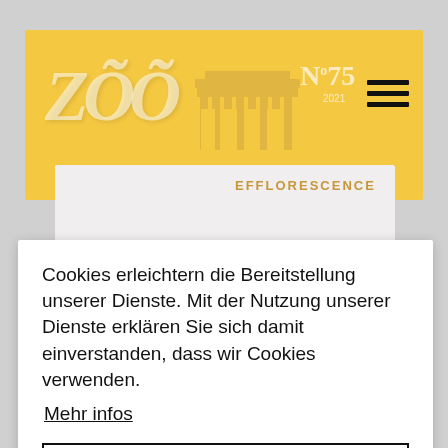[Figure (screenshot): Background showing a website page with yellow header containing ZOO magazine logo, Brandenburg Gate silhouette, issue number No 75 / 2021, hamburger menu icon, and a content section below with EFFLORESCENCE text in gold]
Cookies erleichtern die Bereitstellung unserer Dienste. Mit der Nutzung unserer Dienste erklären Sie sich damit einverstanden, dass wir Cookies verwenden.
Mehr infos
OK